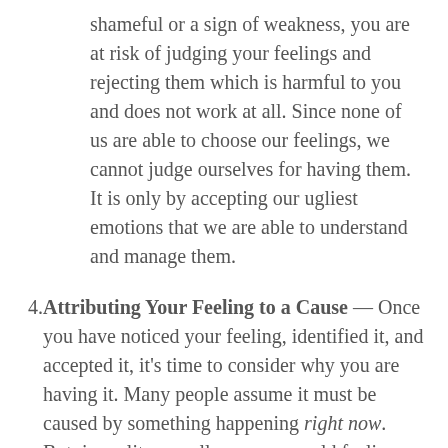shameful or a sign of weakness, you are at risk of judging your feelings and rejecting them which is harmful to you and does not work at all. Since none of us are able to choose our feelings, we cannot judge ourselves for having them. It is only by accepting our ugliest emotions that we are able to understand and manage them.
4. Attributing Your Feeling to a Cause — Once you have noticed your feeling, identified it, and accepted it, it's time to consider why you are having it. Many people assume it must be caused by something happening right now. But, in reality, we all carry many old feelings within us that might be